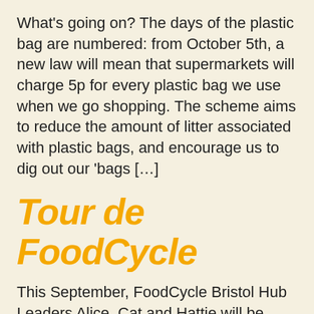What's going on? The days of the plastic bag are numbered: from October 5th, a new law will mean that supermarkets will charge 5p for every plastic bag we use when we go shopping. The scheme aims to reduce the amount of litter associated with plastic bags, and encourage us to dig out our 'bags [...]
Tour de FoodCycle
This September, FoodCycle Bristol Hub Leaders Alice, Cat and Hattie will be cycling from London to Paris and back (over 300 miles!) to raise money for FoodCycle. The Challenge As well as taking on this incredible challenge to raise valuable funds for FoodCycle's projects, the trio aim to increase awareness about food waste and [...]